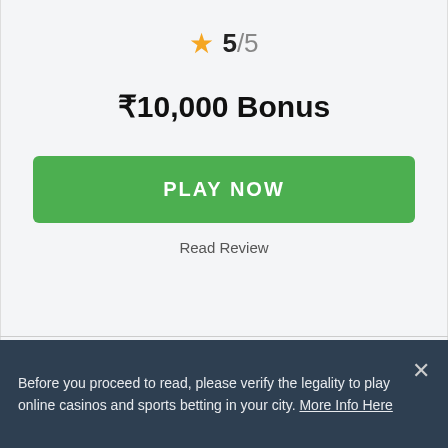5/5
₹10,000 Bonus
PLAY NOW
Read Review
6
Before you proceed to read, please verify the legality to play online casinos and sports betting in your city. More Info Here